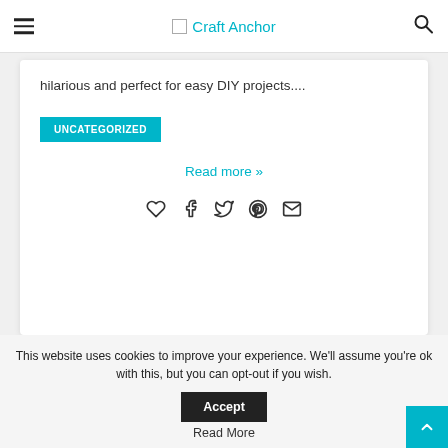Craft Anchor
hilarious and perfect for easy DIY projects....
UNCATEGORIZED
Read more »
[Figure (infographic): Social sharing icons: heart, facebook, twitter, pinterest, email]
[Figure (illustration): Decorative illustration showing a curly gold ribbon, a red maple leaf, and partial dark shape on a white card background]
This website uses cookies to improve your experience. We'll assume you're ok with this, but you can opt-out if you wish.
Accept
Read More